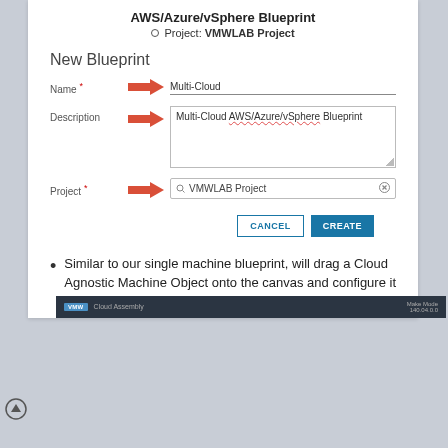AWS/Azure/vSphere Blueprint
Project: VMWLAB Project
New Blueprint
[Figure (screenshot): New Blueprint form with Name field filled as 'Multi-Cloud', Description field with 'Multi-Cloud AWS/Azure/vSphere Blueprint', Project field with 'VMWLAB Project', red arrows pointing to each field, and CANCEL and CREATE buttons at the bottom.]
Similar to our single machine blueprint, will drag a Cloud Agnostic Machine Object onto the canvas and configure it with an image type of Ubuntu and flavor of Small
[Figure (screenshot): Bottom dark navigation bar showing Cloud Assembly application bar]